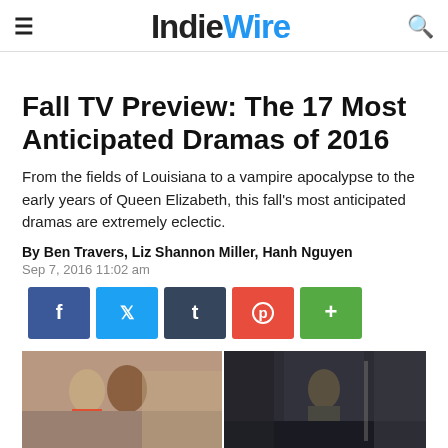IndieWire
Fall TV Preview: The 17 Most Anticipated Dramas of 2016
From the fields of Louisiana to a vampire apocalypse to the early years of Queen Elizabeth, this fall’s most anticipated dramas are extremely eclectic.
By Ben Travers, Liz Shannon Miller, Hanh Nguyen
Sep 7, 2016 11:02 am
[Figure (infographic): Social share buttons: Facebook (blue), Twitter (light blue), Tumblr (dark blue-grey), Pinterest (red), More/Plus (green)]
[Figure (photo): Two TV show stills side by side: left shows two women/girls in a domestic scene, right shows a man standing in a corridor]